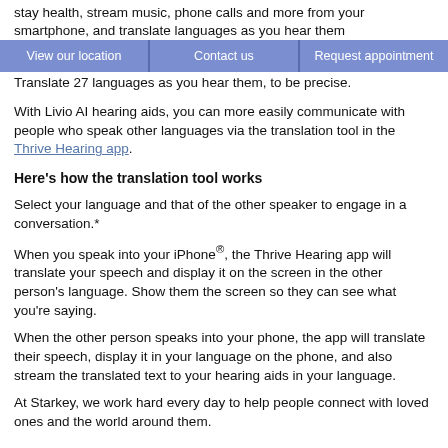stay health, stream music, phone calls and more from your smartphone, and translate languages as you hear them
View our location | Contact us | Request appointment
Translate 27 languages as you hear them, to be precise.
With Livio AI hearing aids, you can more easily communicate with people who speak other languages via the translation tool in the Thrive Hearing app.
Here's how the translation tool works
Select your language and that of the other speaker to engage in a conversation.*
When you speak into your iPhone®, the Thrive Hearing app will translate your speech and display it on the screen in the other person's language. Show them the screen so they can see what you're saying.
When the other person speaks into your phone, the app will translate their speech, display it in your language on the phone, and also stream the translated text to your hearing aids in your language.
At Starkey, we work hard every day to help people connect with loved ones and the world around them.